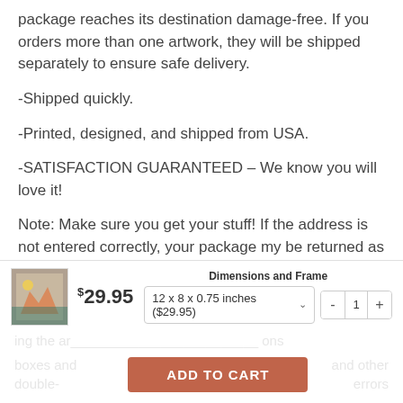package reaches its destination damage-free. If you orders more than one artwork, they will be shipped separately to ensure safe delivery.
-Shipped quickly.
-Printed, designed, and shipped from USA.
-SATISFACTION GUARANTEED – We know you will love it!
Note: Make sure you get your stuff! If the address is not entered correctly, your package my be returned as undeliverables. You would then have to place a new order. In case, your package is lost beacause wrong address, we cannot reimburse orders when the
Dimensions and Frame
$29.95  12 x 8 x 0.75 inches ($29.95)  - 1 +
boxes and double-...and other errors
ADD TO CART